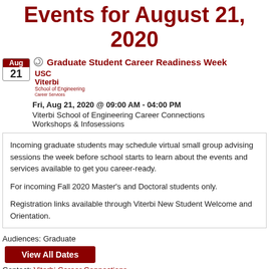Events for August 21, 2020
Graduate Student Career Readiness Week
[Figure (logo): USC Viterbi School of Engineering Career Services logo]
Fri, Aug 21, 2020 @ 09:00 AM - 04:00 PM
Viterbi School of Engineering Career Connections Workshops & Infosessions
Incoming graduate students may schedule virtual small group advising sessions the week before school starts to learn about the events and services available to get you career-ready.

For incoming Fall 2020 Master's and Doctoral students only.

Registration links available through Viterbi New Student Welcome and Orientation.
Audiences: Graduate
View All Dates
Contact: Viterbi Career Connections